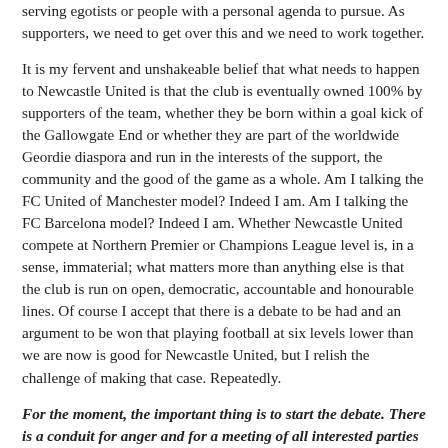serving egotists or people with a personal agenda to pursue. As supporters, we need to get over this and we need to work together.
It is my fervent and unshakeable belief that what needs to happen to Newcastle United is that the club is eventually owned 100% by supporters of the team, whether they be born within a goal kick of the Gallowgate End or whether they are part of the worldwide Geordie diaspora and run in the interests of the support, the community and the good of the game as a whole. Am I talking the FC United of Manchester model? Indeed I am. Am I talking the FC Barcelona model? Indeed I am. Whether Newcastle United compete at Northern Premier or Champions League level is, in a sense, immaterial; what matters more than anything else is that the club is run on open, democratic, accountable and honourable lines. Of course I accept that there is a debate to be had and an argument to be won that playing football at six levels lower than we are now is good for Newcastle United, but I relish the challenge of making that case. Repeatedly.
For the moment, the important thing is to start the debate. There is a conduit for anger and for a meeting of all interested parties to try and find a way to work through this. NUFC Fans United have organised a